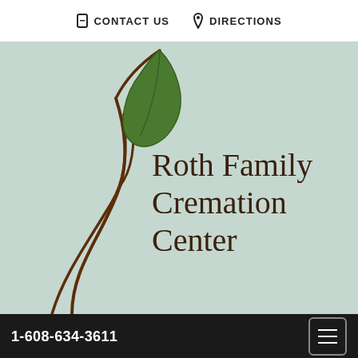CONTACT US   DIRECTIONS
[Figure (logo): Roth Family Cremation Center logo: stylized plant/tree with brown curved stem and green leaf on a light seafoam green background, with business name 'Roth Family Cremation Center' in dark brown serif font]
1-608-634-3611